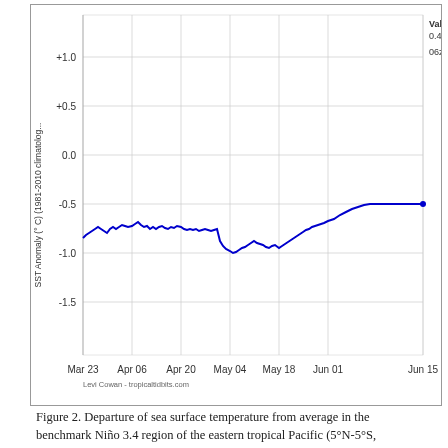[Figure (continuous-plot): Line chart showing SST Anomaly (°C) (1981-2010 climatology) over time from Mar 23 to Jun 15. The blue line fluctuates between approximately -0.7 and -1.0 for most of the period, then rises to about -0.5 near Jun 15. Value label shows 0.494 at 06z Jun 15. Y-axis ranges from -1.5 to +1.0. X-axis dates: Mar 23, Apr 06, Apr 20, May 04, May 18, Jun 01, Jun 15.]
Figure 2. Departure of sea surface temperature from average in the benchmark Niño 3.4 region of the eastern tropical Pacific (5°N-5°S, 170°W-120°W). Temperatures have ranged from 0.5 to 1.0 degree Celsius below average since mid-May. (Image credit: Tropical Tidbits)
The impact of the current La Niña event may be boosted by an intensely negative Pacific Decadal Oscillation, or PDO. The PDO is an index of sea surface